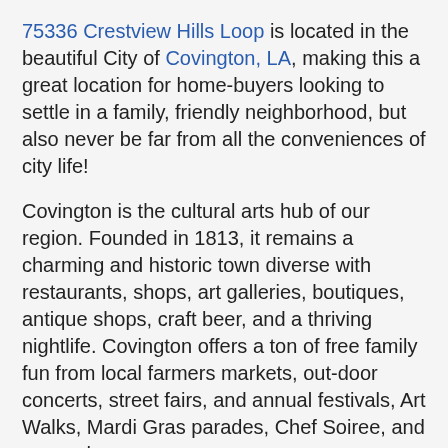75336 Crestview Hills Loop is located in the beautiful City of Covington, LA, making this a great location for home-buyers looking to settle in a family, friendly neighborhood, but also never be far from all the conveniences of city life!
Covington is the cultural arts hub of our region. Founded in 1813, it remains a charming and historic town diverse with restaurants, shops, art galleries, boutiques, antique shops, craft beer, and a thriving nightlife. Covington offers a ton of free family fun from local farmers markets, out-door concerts, street fairs, and annual festivals, Art Walks, Mardi Gras parades, Chef Soiree, and so much more.
Click here to view all properties available in Covington, LA